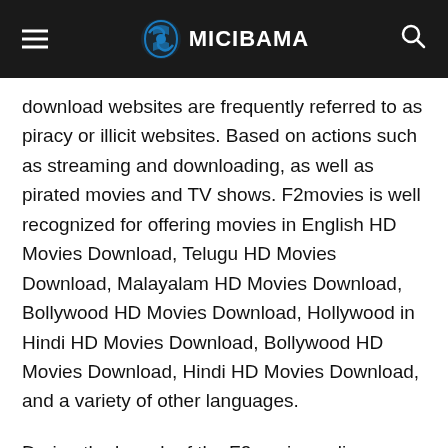MICIBAMA (logo)
download websites are frequently referred to as piracy or illicit websites. Based on actions such as streaming and downloading, as well as pirated movies and TV shows. F2movies is well recognized for offering movies in English HD Movies Download, Telugu HD Movies Download, Malayalam HD Movies Download, Bollywood HD Movies Download, Hollywood in Hindi HD Movies Download, Bollywood HD Movies Download, Hindi HD Movies Download, and a variety of other languages.
During the launch of the F2movies online streaming service, the platform attracted a large audience with its collection of free Tamil, Malayalam, Kannada, and English movies. In addition, the website provided links to download the most recent films, such as F2movies 2020 movies, 2019, movies,